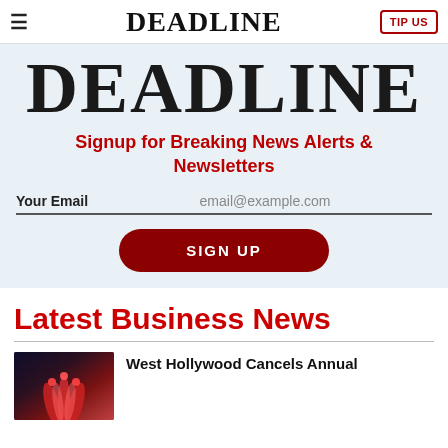≡  DEADLINE  TIP US
[Figure (logo): Large DEADLINE text logo in bold serif font on light blue-gray background]
Signup for Breaking News Alerts & Newsletters
Your Email  email@example.com
SIGN UP
Latest Business News
West Hollywood Cancels Annual